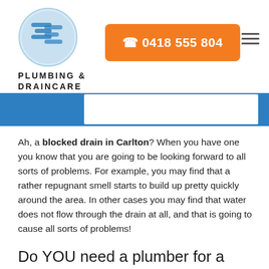[Figure (logo): SE Plumbing & Draincare logo: circular emblem with stylized S and E letters, alongside text PLUMBING & DRAINCARE]
0418 555 804
Ah, a blocked drain in Carlton? When you have one you know that you are going to be looking forward to all sorts of problems. For example, you may find that a rather repugnant smell starts to build up pretty quickly around the area. In other cases you may find that water does not flow through the drain at all, and that is going to cause all sorts of problems!
Do YOU need a plumber for a blocked drain in Carlton?